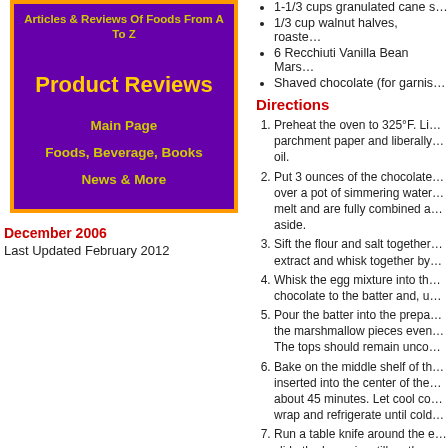Articles & Reviews Of Foods From A To Z
Product Reviews
Main Page
Foods, Beverage, Books
News & More
December 2006
Last Updated February 2012
1-1/3 cups granulated cane s…
1/3 cup walnut halves, roaste…
6 Recchiuti Vanilla Bean Mars…
Shaved chocolate (for garnis…
Directions
Preheat the oven to 325°F. Li… parchment paper and liberally… oil.
Put 3 ounces of the chocolate… over a pot of simmering water… melt and are fully combined a… aside.
Sift the flour and salt together… extract and whisk together by…
Whisk the egg mixture into th… chocolate to the batter and, u…
Pour the batter into the prepa… the marshmallow pieces even… The tops should remain unco…
Bake on the middle shelf of th… inserted into the center of the… about 45 minutes. Let cool co… wrap and refrigerate until cold…
Run a table knife around the e… slide the brownie, still on the…